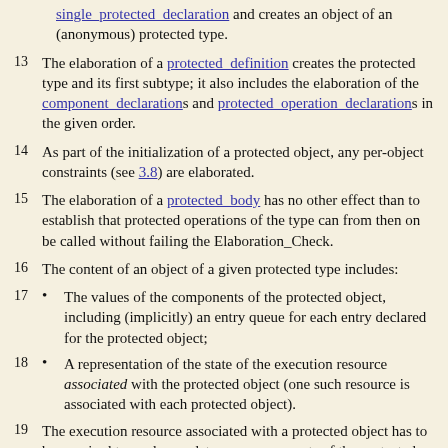single_protected_declaration and creates an object of an (anonymous) protected type.
13 The elaboration of a protected_definition creates the protected type and its first subtype; it also includes the elaboration of the component_declarations and protected_operation_declarations in the given order.
14 As part of the initialization of a protected object, any per-object constraints (see 3.8) are elaborated.
15 The elaboration of a protected_body has no other effect than to establish that protected operations of the type can from then on be called without failing the Elaboration_Check.
16 The content of an object of a given protected type includes:
17 • The values of the components of the protected object, including (implicitly) an entry queue for each entry declared for the protected object;
18 • A representation of the state of the execution resource associated with the protected object (one such resource is associated with each protected object).
19 The execution resource associated with a protected object has to be acquired to read or update any components of the protected object; it can be acquired (except for a protected subtype...